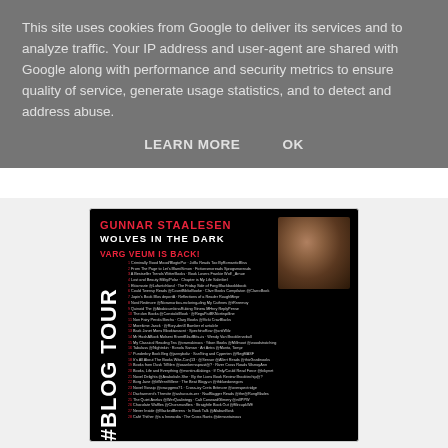This site uses cookies from Google to deliver its services and to analyze traffic. Your IP address and user-agent are shared with Google along with performance and security metrics to ensure quality of service, generate usage statistics, and to detect and address abuse.
LEARN MORE    OK
[Figure (infographic): Book promotion blog tour poster for 'Wolves in the Dark' by Gunnar Staalesen featuring Varg Veum character. Black background with red and white text, author photo top right, #BLOG TOUR text vertically on left side, and a list of blog tour stops.]